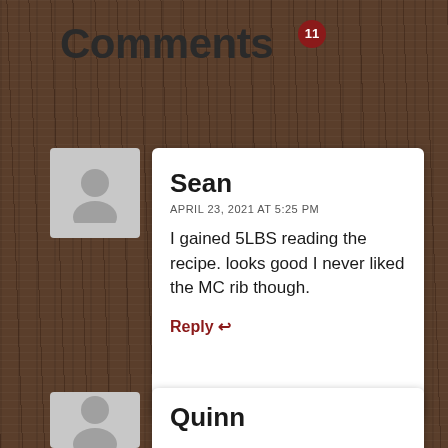Comments
Sean
APRIL 23, 2021 AT 5:25 PM
I gained 5LBS reading the recipe. looks good I never liked the MC rib though.
Reply
Quinn